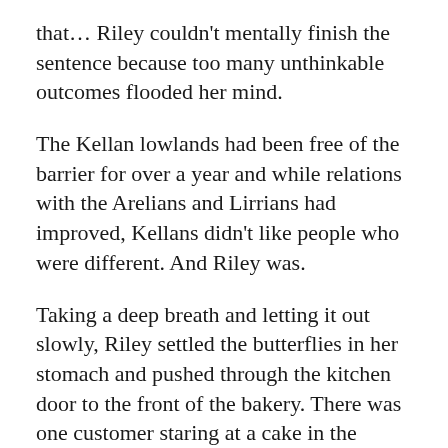that... Riley couldn't mentally finish the sentence because too many unthinkable outcomes flooded her mind.
The Kellan lowlands had been free of the barrier for over a year and while relations with the Arelians and Lirrians had improved, Kellans didn't like people who were different. And Riley was.
Taking a deep breath and letting it out slowly, Riley settled the butterflies in her stomach and pushed through the kitchen door to the front of the bakery. There was one customer staring at a cake in the display case. She stopped in her tracks when the most handsome Kellan man she'd ever seen straightened and smiled at her.